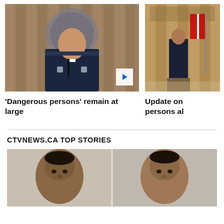[Figure (photo): Police officer in uniform speaking at a podium with RCMP crest behind, press conference]
[Figure (photo): Military or police officer standing at podium in formal setting with flag]
'Dangerous persons' remain at large
Update on persons al
CTVNEWS.CA TOP STORIES
[Figure (photo): Two men shown in mugshot-style side-by-side photos]